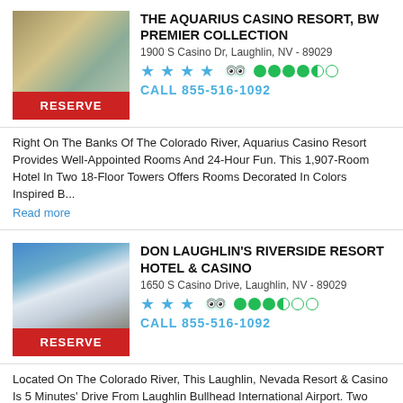[Figure (photo): Hotel room interior photo showing beds and window with a view]
THE AQUARIUS CASINO RESORT, BW PREMIER COLLECTION
1900 S Casino Dr, Laughlin, NV - 89029
4 stars, TripAdvisor 4.5 bubbles
CALL 855-516-1092
Right On The Banks Of The Colorado River, Aquarius Casino Resort Provides Well-Appointed Rooms And 24-Hour Fun. This 1,907-Room Hotel In Two 18-Floor Towers Offers Rooms Decorated In Colors Inspired B...
Read more
[Figure (photo): Exterior photo of a tall hotel tower resort building near water]
DON LAUGHLIN'S RIVERSIDE RESORT HOTEL & CASINO
1650 S Casino Drive, Laughlin, NV - 89029
3 stars, TripAdvisor 3.5 bubbles
CALL 855-516-1092
Located On The Colorado River, This Laughlin, Nevada Resort & Casino Is 5 Minutes' Drive From Laughlin Bullhead International Airport. Two Seasonal Outdoor Swimming Pools And A Hot Tub Are